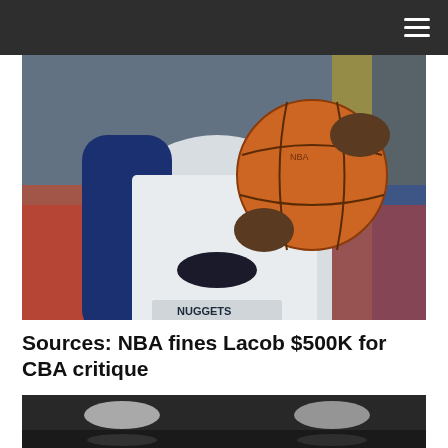[Figure (photo): A basketball player in a white vest with 'Nuggets' branding and Nike logo, holding an orange basketball. The player is wearing a blue long-sleeve shirt underneath. Background shows a blurred arena crowd.]
Sources: NBA fines Lacob $500K for CBA critique
[Figure (photo): A dark interior arena or court scene, partially visible at the bottom of the page, with blurred ceiling lights visible.]